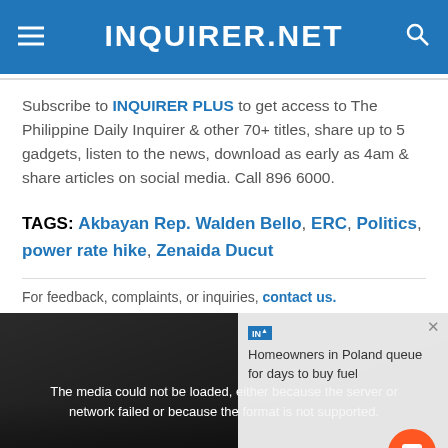INQUIRER.NET
Subscribe to INQUIRER PLUS to get access to The Philippine Daily Inquirer & other 70+ titles, share up to 5 gadgets, listen to the news, download as early as 4am & share articles on social media. Call 896 6000.
TAGS: Akbayan Rep. Walden Bello, ERC, Politics, power rate hike, Zenaida Ducut
For feedback, complaints, or inquiries, contact us.
[Figure (screenshot): Video player overlay showing media error message. Background image shows homeowners in Poland queuing for fuel. Error text: 'The media could not be loaded, either because the server or network failed or because the format is not supported.' Right sidebar shows article title 'Homeowners in Poland queue for days to buy fuel'. Orange chat button visible bottom right. Large X close button at bottom center.]